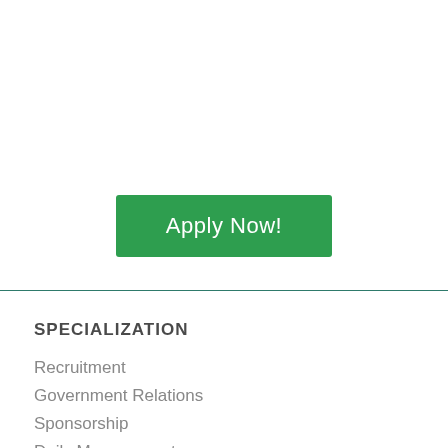[Figure (other): Green 'Apply Now!' button centered on the page]
SPECIALIZATION
Recruitment
Government Relations
Sponsorship
Daily Management